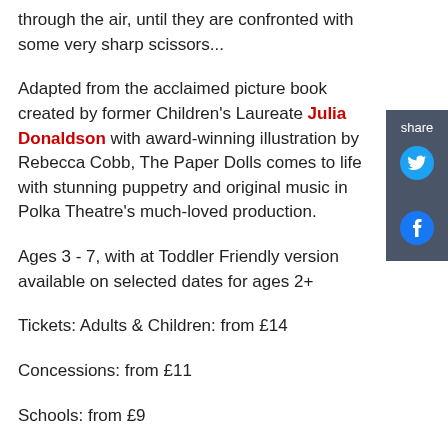through the air, until they are confronted with some very sharp scissors...
Adapted from the acclaimed picture book created by former Children's Laureate Julia Donaldson with award-winning illustration by Rebecca Cobb, The Paper Dolls comes to life with stunning puppetry and original music in Polka Theatre's much-loved production.
Ages 3 - 7, with at Toddler Friendly version available on selected dates for ages 2+
Tickets: Adults & Children: from £14
Concessions: from £11
Schools: from £9
£1.50 transaction fee applies to phone & online